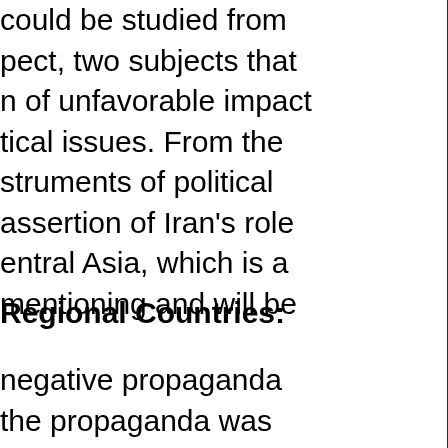could be studied from pect, two subjects that n of unfavorable impact tical issues. From the struments of political assertion of Iran's role entral Asia, which is a mentioning and will be
Regional Countries:
negative propaganda the propaganda was r intervention in their ested that most of the hat country was trying many that was against